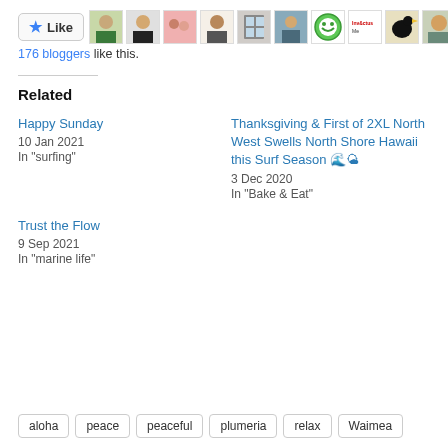[Figure (other): Like button with star icon and a strip of blogger avatar thumbnails]
176 bloggers like this.
Related
Happy Sunday
10 Jan 2021
In "surfing"
Thanksgiving & First of 2XL North West Swells North Shore Hawaii this Surf Season 🌊🌤
3 Dec 2020
In "Bake & Eat"
Trust the Flow
9 Sep 2021
In "marine life"
aloha
peace
peaceful
plumeria
relax
Waimea